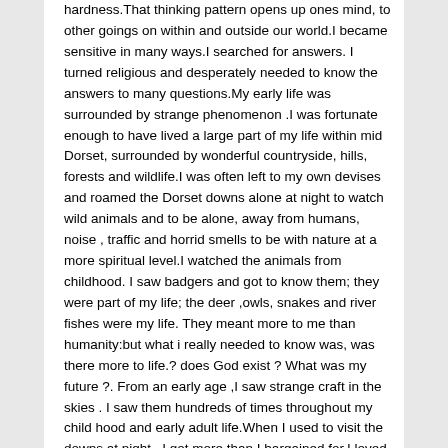hardness.That thinking pattern opens up ones mind, to other goings on within and outside our world.I became sensitive in many ways.I searched for answers. I turned religious and desperately needed to know the answers to many questions.My early life was surrounded by strange phenomenon .I was fortunate enough to have lived a large part of my life within mid Dorset, surrounded by wonderful countryside, hills, forests and wildlife.I was often left to my own devises and roamed the Dorset downs alone at night to watch wild animals and to be alone, away from humans, noise , traffic and horrid smells to be with nature at a more spiritual level.I watched the animals from childhood. I saw badgers and got to know them; they were part of my life; the deer ,owls, snakes and river fishes were my life. They meant more to me than humanity:but what i really needed to know was, was there more to life.? does God exist ? What was my future ?. From an early age ,I saw strange craft in the skies . I saw them hundreds of times throughout my child hood and early adult life.When I used to visit the downs at night , I got more than I bargained for.I loved it and it became the main